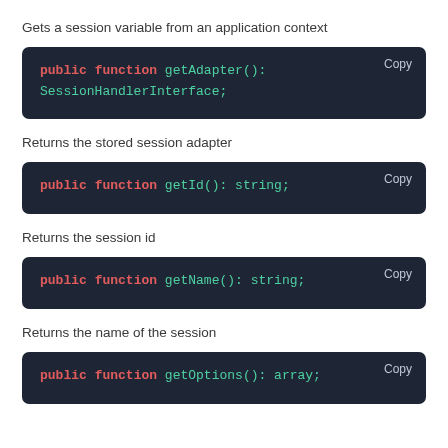Gets a session variable from an application context
public function getAdapter(): SessionHandlerInterface;
Returns the stored session adapter
public function getId(): string;
Returns the session id
public function getName(): string;
Returns the name of the session
public function getOptions(): array;